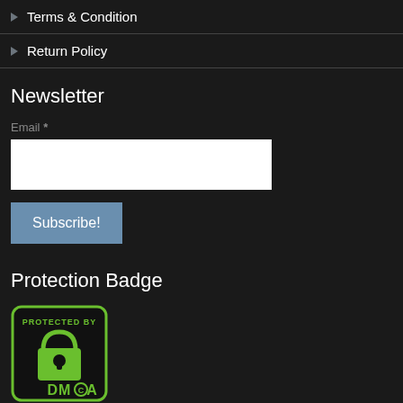Terms & Condition
Return Policy
Newsletter
Email *
Subscribe!
Protection Badge
[Figure (logo): DMCA Protected By badge — green border rounded rectangle, padlock icon, text PROTECTED BY at top, DMCA at bottom]